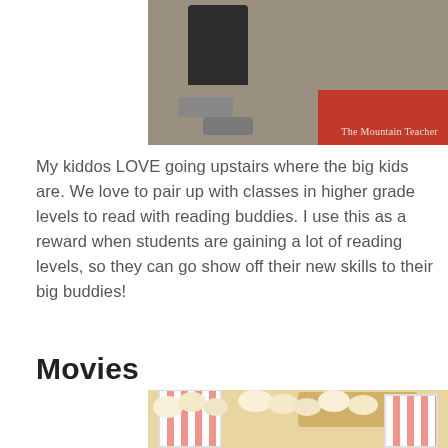[Figure (photo): Photo of a child's feet/shoes on a carpet near a red mat, with watermark 'The Mountain Teacher']
My kiddos LOVE going upstairs where the big kids are. We love to pair up with classes in higher grade levels to read with reading buddies. I use this as a reward when students are gaining a lot of reading levels, so they can go show off their new skills to their big buddies!
Movies
[Figure (photo): Close-up photo of popcorn in red and white striped boxes, with snacks in the background]